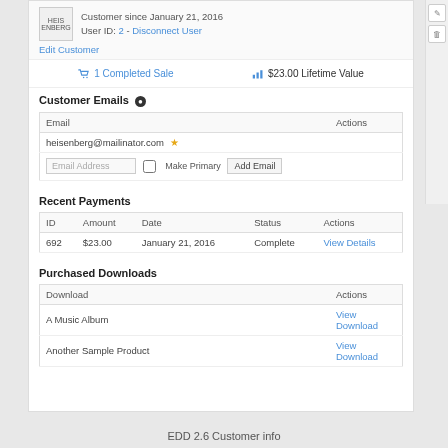Customer since January 21, 2016
User ID: 2 - Disconnect User
Edit Customer
1 Completed Sale   $23.00 Lifetime Value
Customer Emails
| Email | Actions |
| --- | --- |
| heisenberg@mailinator.com ★ |  |
| Email Address  ☐ Make Primary  Add Email |  |
Recent Payments
| ID | Amount | Date | Status | Actions |
| --- | --- | --- | --- | --- |
| 692 | $23.00 | January 21, 2016 | Complete | View Details |
Purchased Downloads
| Download | Actions |
| --- | --- |
| A Music Album | View Download |
| Another Sample Product | View Download |
EDD 2.6 Customer info